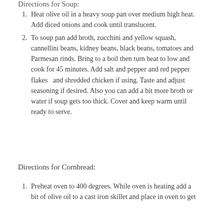Directions for Soup:
Heat olive oil in a heavy soup pan over medium high heat. Add diced onions and cook until translucent.
To soup pan add broth, zucchini and yellow squash, cannellini beans, kidney beans, black beans, tomatoes and Parmesan rinds. Bring to a boil then turn heat to low and cook for 45 minutes. Add salt and pepper and red pepper flakes and shredded chicken if using. Taste and adjust seasoning if desired. Also you can add a bit more broth or water if soup gets too thick. Cover and keep warm until ready to serve.
Directions for Cornbread:
Preheat oven to 400 degrees. While oven is heating add a bit of olive oil to a cast iron skillet and place in oven to get